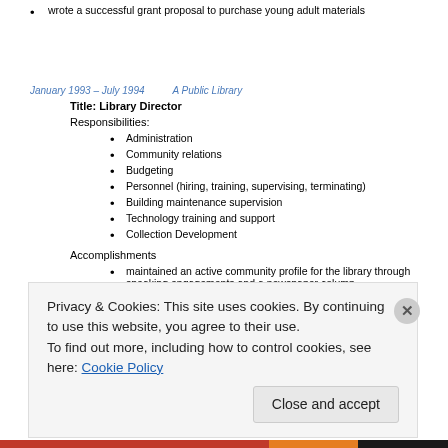wrote a successful grant proposal to purchase young adult materials
January 1993 – July 1994    A Public Library
Title: Library Director
Responsibilities:
Administration
Community relations
Budgeting
Personnel (hiring, training, supervising, terminating)
Building maintenance supervision
Technology training and support
Collection Development
Accomplishments
maintained an active community profile for the library through speaking engagements and a newspaper column
selected and acquired funding for an automated library system
Privacy & Cookies: This site uses cookies. By continuing to use this website, you agree to their use.
To find out more, including how to control cookies, see here: Cookie Policy